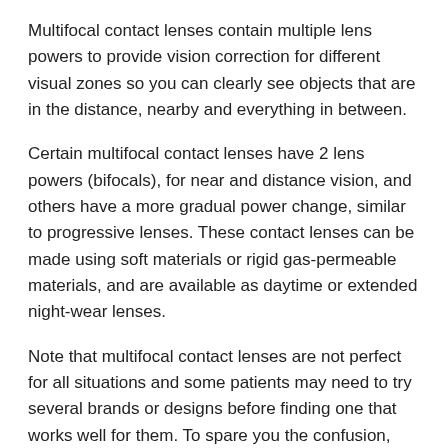Multifocal contact lenses contain multiple lens powers to provide vision correction for different visual zones so you can clearly see objects that are in the distance, nearby and everything in between.
Certain multifocal contact lenses have 2 lens powers (bifocals), for near and distance vision, and others have a more gradual power change, similar to progressive lenses. These contact lenses can be made using soft materials or rigid gas-permeable materials, and are available as daytime or extended night-wear lenses.
Note that multifocal contact lenses are not perfect for all situations and some patients may need to try several brands or designs before finding one that works well for them. To spare you the confusion, your optometrist will guide you towards the ones best suited to your eyes and lifestyle needs.
To discover options beyond reading glasses, call McAlear Eye Care in Weymouth to schedule your contact lens consultation today.